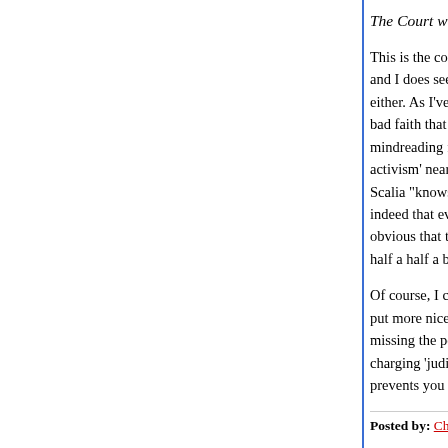The Court was not compelled to do any such thing.
This is the complete basis of your argument and I and I does see any reason at all to believe that a either. As I've been saying all along, your argument bad faith that you're willing to impute to people who mindreading foul of the first order, and is what makes activism' nearly useless as intelligent discussion. Scalia "knows" that there was no equal protection indeed that everyone knows it. What have I got as obvious that the intent element was completely lacking half a half a brain can see it.
Of course, I can't really be sure that Justice Scalia put more nicely (and closer to what I actually think) missing the point (again) of what the Constitution charging 'judicial activism' in your sense for this d prevents you from saying the same thing about R
Posted by: CharleyCarp | October 07, 2005 at 09:56 AM
Charley, do you think that Roper was rightly decided